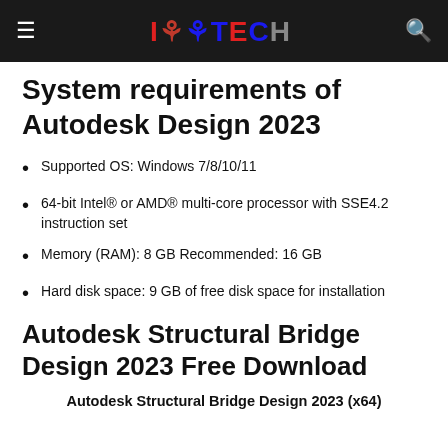IGGTECH
System requirements of Autodesk Design 2023
Supported OS: Windows 7/8/10/11
64-bit Intel® or AMD® multi-core processor with SSE4.2 instruction set
Memory (RAM): 8 GB Recommended: 16 GB
Hard disk space: 9 GB of free disk space for installation
Autodesk Structural Bridge Design 2023 Free Download
Autodesk Structural Bridge Design 2023 (x64)